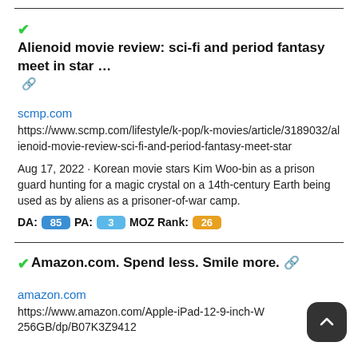✔Alienoid movie review: sci-fi and period fantasy meet in star … 🔗
scmp.com
https://www.scmp.com/lifestyle/k-pop/k-movies/article/3189032/alienoid-movie-review-sci-fi-and-period-fantasy-meet-star
Aug 17, 2022 · Korean movie stars Kim Woo-bin as a prison guard hunting for a magic crystal on a 14th-century Earth being used as by aliens as a prisoner-of-war camp.
DA: 85 PA: 3 MOZ Rank: 26
✔Amazon.com. Spend less. Smile more. 🔗
amazon.com
https://www.amazon.com/Apple-iPad-12-9-inch-W 256GB/dp/B07K3Z9412